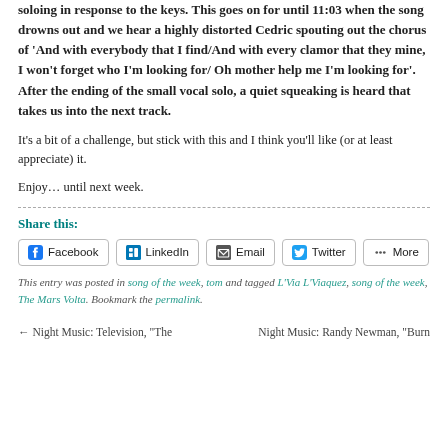soloing in response to the keys. This goes on for until 11:03 when the song drowns out and we hear a highly distorted Cedric spouting out the chorus of ‘And with everybody that I find/And with every clamor that they mine, I won’t forget who I’m looking for/ Oh mother help me I’m looking for’. After the ending of the small vocal solo, a quiet squeaking is heard that takes us into the next track.
It’s a bit of a challenge, but stick with this and I think you’ll like (or at least appreciate) it.
Enjoy… until next week.
Share this:
Facebook | LinkedIn | Email | Twitter | More
This entry was posted in song of the week, tom and tagged L’Via L’Viaquez, song of the week, The Mars Volta. Bookmark the permalink.
← Night Music: Television, “The
Night Music: Randy Newman, “Burn